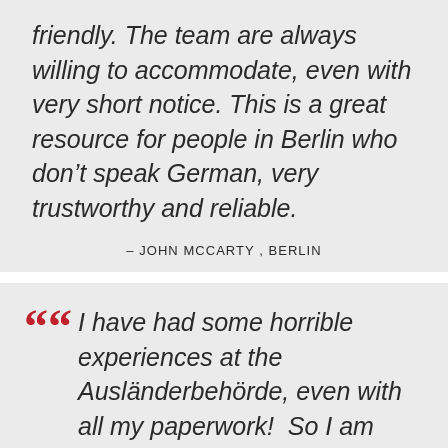friendly. The team are always willing to accommodate, even with very short notice. This is a great resource for people in Berlin who don't speak German, very trustworthy and reliable.
– JOHN MCCARTY , BERLIN
I have had some horrible experiences at the Ausländerbehörde, even with all my paperwork!  So I am